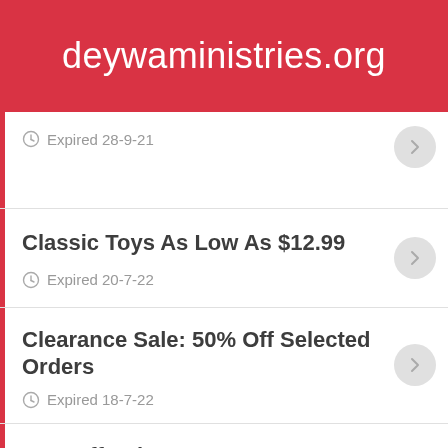deywaministries.org
Expired 28-9-21
Classic Toys As Low As $12.99
Expired 20-7-22
Clearance Sale: 50% Off Selected Orders
Expired 18-7-22
15% Off Sale At Young